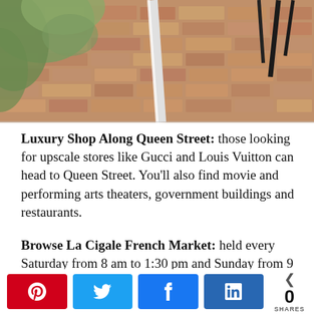[Figure (photo): Outdoor area with brick/stone patio floor, a white post/railing on the left, green foliage in the background, and dark metal chair legs visible on the right side.]
Luxury Shop Along Queen Street: those looking for upscale stores like Gucci and Louis Vuitton can head to Queen Street. You'll also find movie and performing arts theaters, government buildings and restaurants.
Browse La Cigale French Market: held every Saturday from 8 am to 1:30 pm and Sunday from 9 am to 1:30 pm, La Cigale is a gourmet hub and offers a slice of France in the heart of Auckland. It has been voted Auckland's Best Food Market by Metro
[Figure (infographic): Social share bar with Pinterest, Twitter, Facebook, and LinkedIn share buttons, and a share count showing 0 SHARES.]